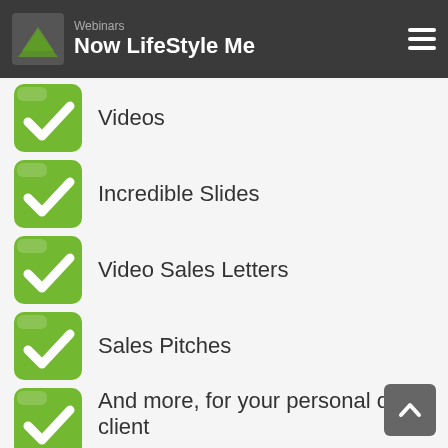Webinars — Now LifeStyle Me
Videos
Incredible Slides
Video Sales Letters
Sales Pitches
And more, for your personal or client projects.
You'll NEVER...